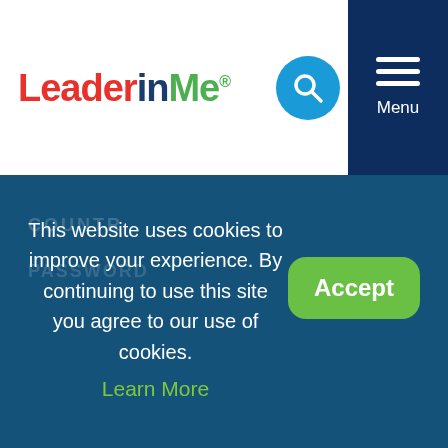[Figure (logo): LeaderInMe logo with red 'Leader', dark blue 'in', green 'Me' and registered trademark symbol]
[Figure (other): Blue circular search icon with magnifying glass]
[Figure (other): Dark navy menu button area with three horizontal white lines and 'Menu' label]
This website uses cookies to improve your experience. By continuing to use this site you agree to our use of cookies. Learn More
Accept
City
State or Province